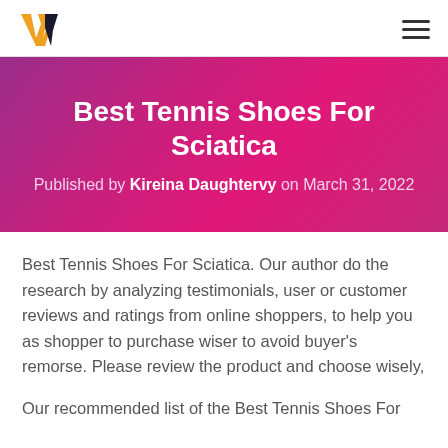[Logo: W] [Hamburger menu]
Best Tennis Shoes For Sciatica
Published by Kireina Daughtervy on March 31, 2022
Best Tennis Shoes For Sciatica. Our author do the research by analyzing testimonials, user or customer reviews and ratings from online shoppers, to help you as shopper to purchase wiser to avoid buyer's remorse. Please review the product and choose wisely,
Our recommended list of the Best Tennis Shoes For